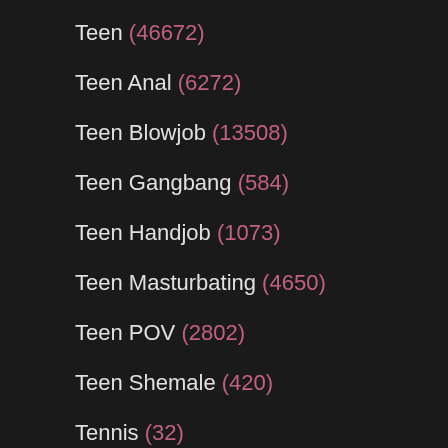Teen (46672)
Teen Anal (6272)
Teen Blowjob (13508)
Teen Gangbang (584)
Teen Handjob (1073)
Teen Masturbating (4650)
Teen POV (2802)
Teen Shemale (420)
Tennis (32)
Tentacle (16)
Thai (1248)
Thin (1099)
Thong (476)
Threesome (12393)
Throat Fucked (2263)
Tickling (85)